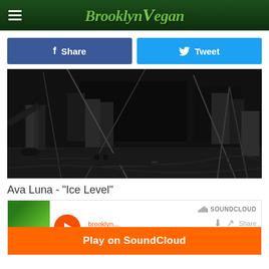BrooklynVegan
Share
Tweet
[Figure (photo): Black and white photo of musicians on stage, showing legs, microphone stands, cables on the floor, and audio equipment]
Ava Luna - "Ice Level"
[Figure (screenshot): SoundCloud embedded player for Ava Luna track with play button and Play on SoundCloud overlay button]